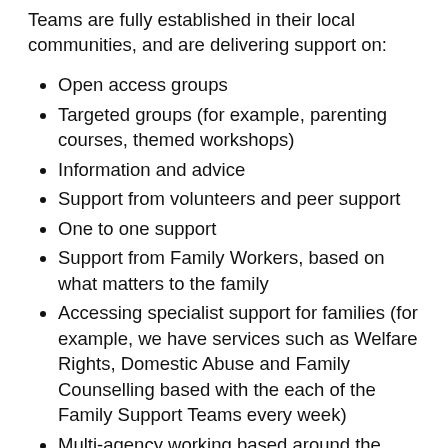Teams are fully established in their local communities, and are delivering support on:
Open access groups
Targeted groups (for example, parenting courses, themed workshops)
Information and advice
Support from volunteers and peer support
One to one support
Support from Family Workers, based on what matters to the family
Accessing specialist support for families (for example, we have services such as Welfare Rights, Domestic Abuse and Family Counselling based with the each of the Family Support Teams every week)
Multi-agency working based around the individual families' needs